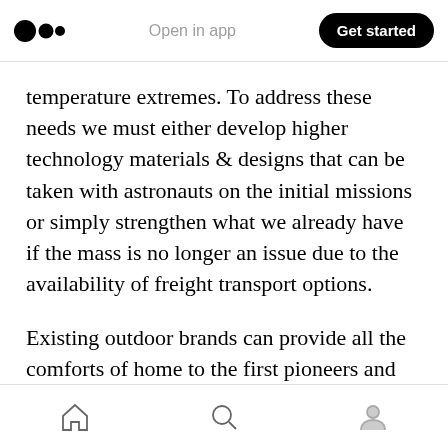Open in app | Get started
temperature extremes. To address these needs we must either develop higher technology materials & designs that can be taken with astronauts on the initial missions or simply strengthen what we already have if the mass is no longer an issue due to the availability of freight transport options.
Existing outdoor brands can provide all the comforts of home to the first pioneers and the opportunity to sponsor astronauts and secure supply contracts is tremendously valuable. The outdoor industry is a prime candidate for early
Home | Search | Profile